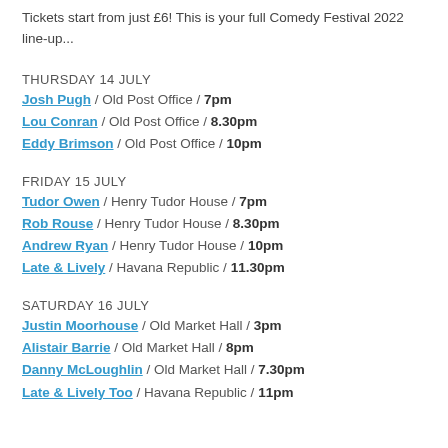Tickets start from just £6! This is your full Comedy Festival 2022 line-up...
THURSDAY 14 JULY
Josh Pugh / Old Post Office / 7pm
Lou Conran / Old Post Office / 8.30pm
Eddy Brimson / Old Post Office / 10pm
FRIDAY 15 JULY
Tudor Owen / Henry Tudor House / 7pm
Rob Rouse / Henry Tudor House / 8.30pm
Andrew Ryan / Henry Tudor House / 10pm
Late & Lively / Havana Republic / 11.30pm
SATURDAY 16 JULY
Justin Moorhouse / Old Market Hall / 3pm
Alistair Barrie / Old Market Hall / 8pm
Danny McLoughlin / Old Market Hall / 7.30pm
Late & Lively Too / Havana Republic / 11pm